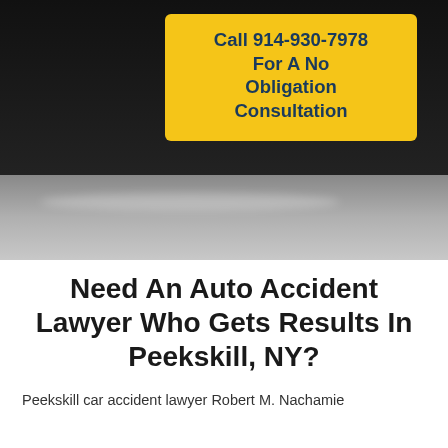[Figure (screenshot): Dark background with a yellow call-to-action button overlay and a gray reflective surface at the bottom (car hood)]
Need An Auto Accident Lawyer Who Gets Results In Peekskill, NY?
Peekskill car accident lawyer Robert M. Nachamie